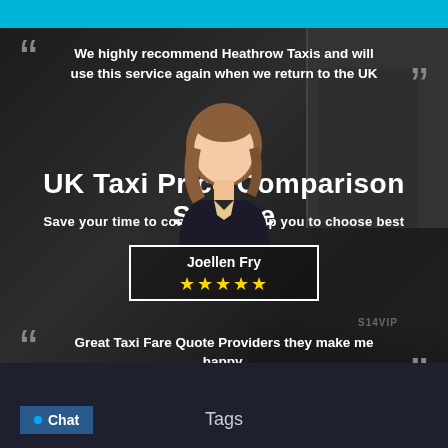We highly recommend Heathrow Taxis and will use this service again when we return to the UK
UK Taxi Price Comparison Service
Save your time to compare. We help you to choose best
[Figure (illustration): Female avatar silhouette in business attire with brown hair]
Joellen Fry ★★★★★
Great Taxi Fare Quote Providers they make me happy.
Tags
Chat